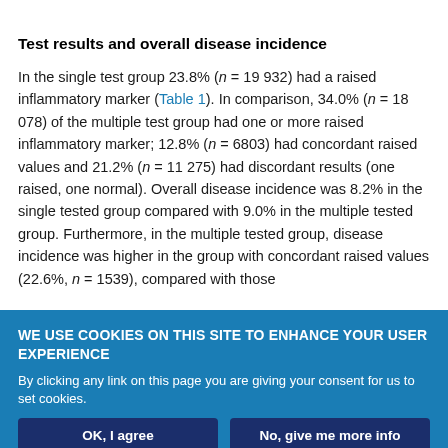Test results and overall disease incidence
In the single test group 23.8% (n = 19 932) had a raised inflammatory marker (Table 1). In comparison, 34.0% (n = 18 078) of the multiple test group had one or more raised inflammatory marker; 12.8% (n = 6803) had concordant raised values and 21.2% (n = 11 275) had discordant results (one raised, one normal). Overall disease incidence was 8.2% in the single tested group compared with 9.0% in the multiple tested group. Furthermore, in the multiple tested group, disease incidence was higher in the group with concordant raised values (22.6%, n = 1539), compared with those
WE USE COOKIES ON THIS SITE TO ENHANCE YOUR USER EXPERIENCE
By clicking any link on this page you are giving your consent for us to set cookies.